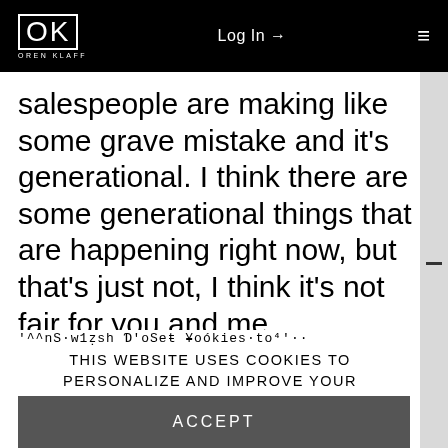OK OREN KLAFF | Log In → | ≡
salespeople are making like some grave mistake and it's generational. I think there are some generational things that are happening right now, but that's just not, I think it's not fair for you and me.
THIS WEBSITE USES COOKIES TO PERSONALIZE AND IMPROVE YOUR USER EXPERIENCE. IF YOU CONTINUE TO USE THIS WEBSITE, YOU WILL BE PROVIDING CONSENT TO OUR USE OF COOKIES.
ACCEPT